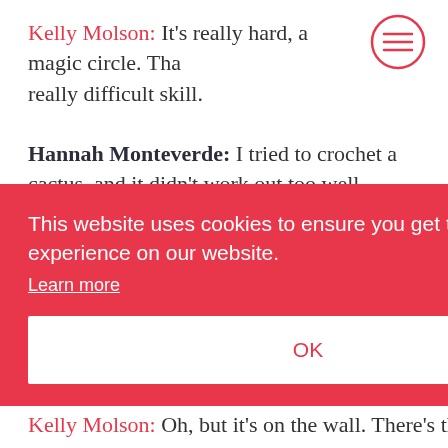Kelly Molson: It's really hard, a magic circle. That's a really difficult skill.
[Figure (other): Hamburger menu icon in a circle, top-right corner]
Hannah Monteverde: I tried to crochet a cactus, and it didn't work out too well.
Kelly Molson: Okay. See, all of my team were male at that point as well, so it was an interesting day of me trying to... Well, it was a lunchtime of me trying
This website uses cookies to ensure you get the best experience on our website. Learn more [OK button]
Kelly Molson: Oh, but it's on the wall. There's the